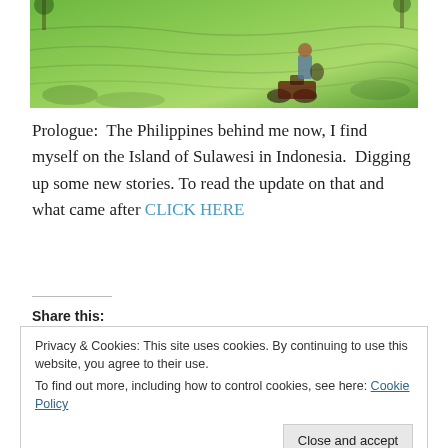[Figure (photo): A man standing beside a motorcycle on a lush green rice terrace hillside in Southeast Asia]
Prologue:  The Philippines behind me now, I find myself on the Island of Sulawesi in Indonesia.  Digging up some new stories. To read the update on that and what came after CLICK HERE
Share this:
Privacy & Cookies: This site uses cookies. By continuing to use this website, you agree to their use.
To find out more, including how to control cookies, see here: Cookie Policy
Close and accept